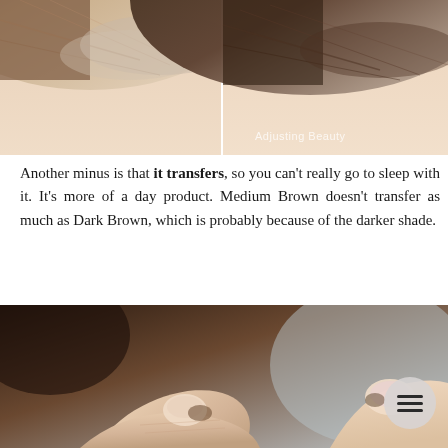[Figure (photo): Before and after comparison photos showing close-up of a person's hairline and scalp. Left photo shows lighter/grayer roots, right photo shows darker, more covered roots. Watermark reads 'Adjusting Beauty'.]
Another minus is that it transfers, so you can't really go to sleep with it. It's more of a day product. Medium Brown doesn't transfer as much as Dark Brown, which is probably because of the darker shade.
[Figure (photo): Close-up photo of two fingers with product residue/transfer visible on the fingertips, against a blurred background. A hamburger menu icon is overlaid in a light circular button at the bottom right.]